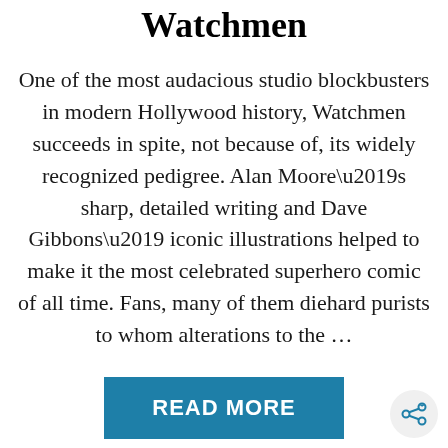Watchmen
One of the most audacious studio blockbusters in modern Hollywood history, Watchmen succeeds in spite, not because of, its widely recognized pedigree. Alan Moore’s sharp, detailed writing and Dave Gibbons’ iconic illustrations helped to make it the most celebrated superhero comic of all time. Fans, many of them diehard purists to whom alterations to the …
READ MORE